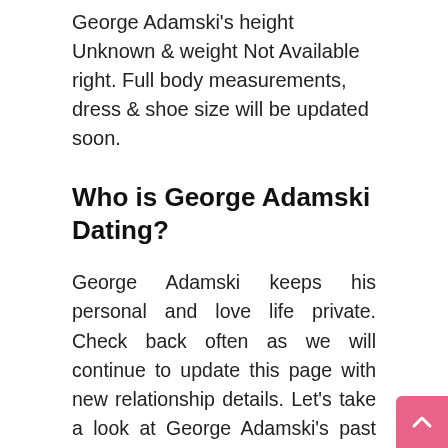George Adamski's height Unknown & weight Not Available right. Full body measurements, dress & shoe size will be updated soon.
Who is George Adamski Dating?
George Adamski keeps his personal and love life private. Check back often as we will continue to update this page with new relationship details. Let's take a look at George Adamski's past relationships, ex-girlfriends, and previous hookups. George Adamski prefers not to tell the details of marital status & divorce.
Dating is to describe a stage in a person's life when he or she is actively pursuing romantic relationships with different people. If two unmarried celebrities are seen in